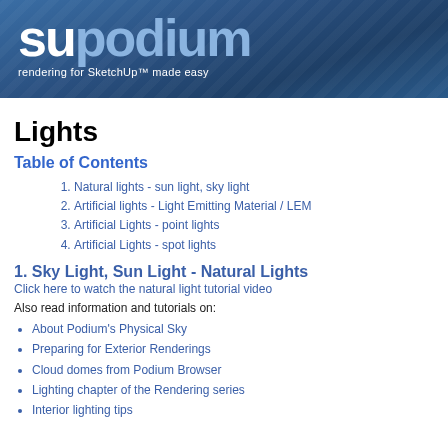[Figure (logo): SU Podium logo with text 'rendering for SketchUp™ made easy' on a blue gradient banner background]
Lights
Table of Contents
Natural lights - sun light, sky light
Artificial lights - Light Emitting Material / LEM
Artificial Lights - point lights
Artificial Lights - spot lights
1. Sky Light, Sun Light - Natural Lights
Click here to watch the natural light tutorial video
Also read information and tutorials on:
About Podium's Physical Sky
Preparing for Exterior Renderings
Cloud domes from Podium Browser
Lighting chapter of the Rendering series
Interior lighting tips